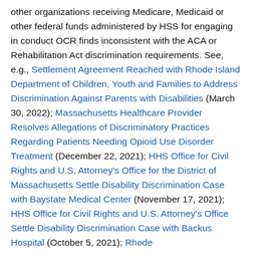other organizations receiving Medicare, Medicaid or other federal funds administered by HSS for engaging in conduct OCR finds inconsistent with the ACA or Rehabilitation Act discrimination requirements. See, e.g., Settlement Agreement Reached with Rhode Island Department of Children, Youth and Families to Address Discrimination Against Parents with Disabilities (March 30, 2022); Massachusetts Healthcare Provider Resolves Allegations of Discriminatory Practices Regarding Patients Needing Opioid Use Disorder Treatment (December 22, 2021); HHS Office for Civil Rights and U.S. Attorney's Office for the District of Massachusetts Settle Disability Discrimination Case with Baystate Medical Center (November 17, 2021); HHS Office for Civil Rights and U.S. Attorney's Office Settle Disability Discrimination Case with Backus Hospital (October 5, 2021); Rhode